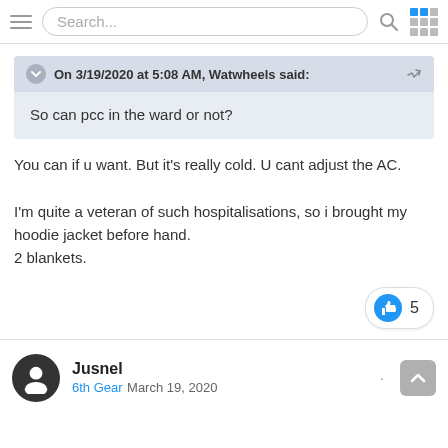Search...
On 3/19/2020 at 5:08 AM, Watwheels said:
So can pcc in the ward or not?
You can if u want. But it's really cold. U cant adjust the AC.

I'm quite a veteran of such hospitalisations, so i brought my hoodie jacket before hand.
2 blankets.
5
Jusnel
6th Gear March 19, 2020